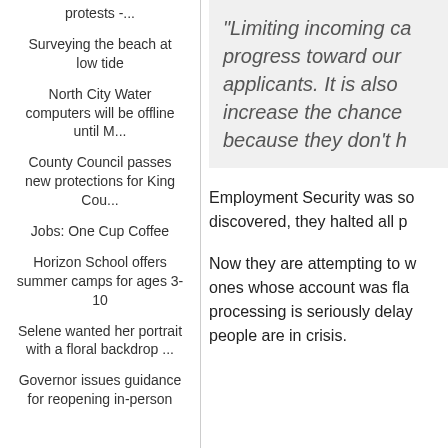protests -...
Surveying the beach at low tide
North City Water computers will be offline until M...
County Council passes new protections for King Cou...
Jobs: One Cup Coffee
Horizon School offers summer camps for ages 3-10
Selene wanted her portrait with a floral backdrop ...
Governor issues guidance for reopening in-person
"Limiting incoming ca progress toward our applicants. It is also increase the chance because they don't h
Employment Security was so discovered, they halted all p
Now they are attempting to w ones whose account was fla processing is seriously delay people are in crisis.